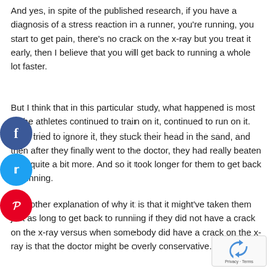And yes, in spite of the published research, if you have a diagnosis of a stress reaction in a runner, you're running, you start to get pain, there's no crack on the x-ray but you treat it early, then I believe that you will get back to running a whole lot faster.
But I think that in this particular study, what happened is most of the athletes continued to train on it, continued to run on it. They tried to ignore it, they stuck their head in the sand, and then after they finally went to the doctor, they had really beaten it up quite a bit more. And so it took longer for them to get back to running.
One other explanation of why it is that it might've taken them just as long to get back to running if they did not have a crack on the x-ray versus when somebody did have a crack on the x-ray is that the doctor might be overly conservative.